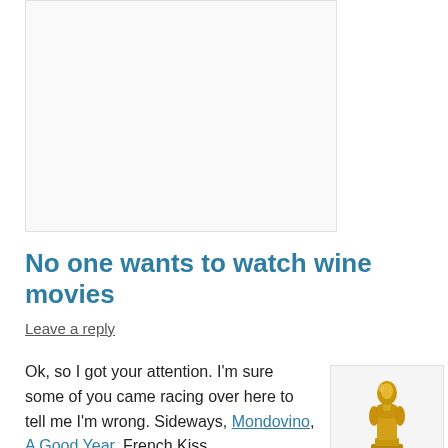[Figure (photo): Large image placeholder at top of page, white/light gray box with border]
No one wants to watch wine movies
Leave a reply
Ok, so I got your attention. I'm sure some of you came racing over here to tell me I'm wrong. Sideways, Mondovino, A Good Year, French Kiss,
[Figure (photo): Oscar award statuette in gold, shown from the chest up]